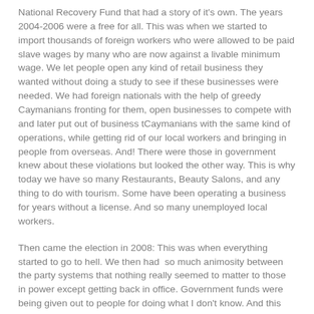National Recovery Fund that had a story of it's own. The years 2004-2006 were a free for all. This was when we started to import thousands of foreign workers who were allowed to be paid slave wages by many who are now against a livable minimum wage. We let people open any kind of retail business they wanted without doing a study to see if these businesses were needed. We had foreign nationals with the help of greedy Caymanians fronting for them, open businesses to compete with and later put out of business tCaymanians with the same kind of operations, while getting rid of our local workers and bringing in people from overseas. And! There were those in government knew about these violations but looked the other way. This is why today we have so many Restaurants, Beauty Salons, and any thing to do with tourism. Some have been operating a business for years without a license. And so many unemployed local workers.
Then came the election in 2008: This was when everything started to go to hell. We then had  so much animosity between the party systems that nothing really seemed to matter to those in power except getting back in office. Government funds were being given out to people for doing what I don't know. And this continued until very recently. Any place else in the civilized world there would have been serious repercussions and somebody would have had to pay the piper.. So let all of us take some of the blame for what's happening today, because we all sat on our butts hoping that some body would come along and reverse the flow. But no one did because we were all waiting for that "hero" to come flying in like